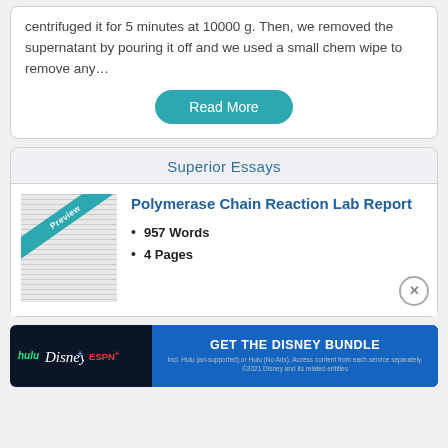centrifuged it for 5 minutes at 10000 g. Then, we removed the supernatant by pouring it off and we used a small chem wipe to remove any…
Read More
Superior Essays
Polymerase Chain Reaction Lab Report
957 Words
4 Pages
[Figure (other): Advertisement banner: hulu, Disney+, ESPN+ logos with 'GET THE DISNEY BUNDLE' call to action. Incl. Hulu (ad-supported) or Hulu (No Ads). Access content from each service separately. ©2021 Disney and its related entities.]